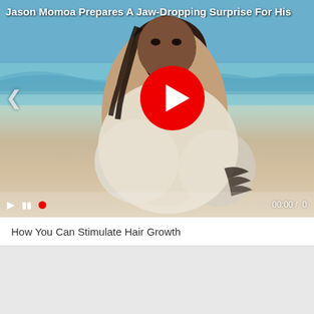[Figure (screenshot): Video player showing Jason Momoa standing in the ocean wearing a wet white shirt, with a large red play button overlay in the center. The title 'Jason Momoa Prepares A Jaw-Dropping Surprise For His' appears in white bold text at the top left. A left navigation arrow is visible on the left side. At the bottom is a video control bar showing play, skip, a red dot indicator, and timestamp '00:00 / 0'.]
How You Can Stimulate Hair Growth